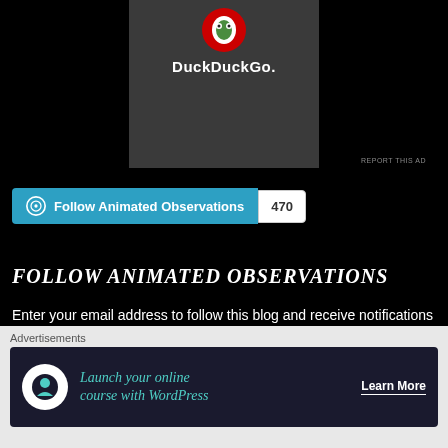[Figure (logo): DuckDuckGo advertisement banner showing logo and brand name on dark grey background]
REPORT THIS AD
[Figure (screenshot): WordPress Follow button for Animated Observations blog with follower count of 470]
FOLLOW ANIMATED OBSERVATIONS
Enter your email address to follow this blog and receive notifications of new posts by email.
Advertisements
[Figure (screenshot): Advertisement banner: Launch your online course with WordPress — Learn More button]